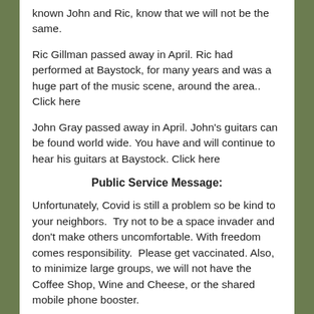known John and Ric, know that we will not be the same.
Ric Gillman passed away in April. Ric had performed at Baystock, for many years and was a huge part of the music scene, around the area.. Click here
John Gray passed away in April. John's guitars can be found world wide. You have and will continue to hear his guitars at Baystock. Click here
Public Service Message:
Unfortunately, Covid is still a problem so be kind to your neighbors.  Try not to be a space invader and don't make others uncomfortable. With freedom comes responsibility.  Please get vaccinated. Also, to minimize large groups, we will not have the Coffee Shop, Wine and Cheese, or the shared mobile phone booster.